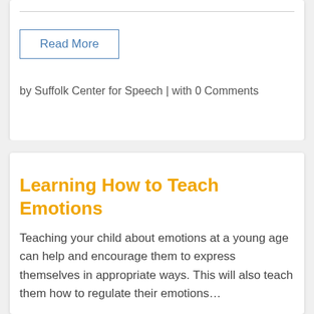Read More
by Suffolk Center for Speech | with 0 Comments
Learning How to Teach Emotions
Teaching your child about emotions at a young age can help and encourage them to express themselves in appropriate ways. This will also teach them how to regulate their emotions…